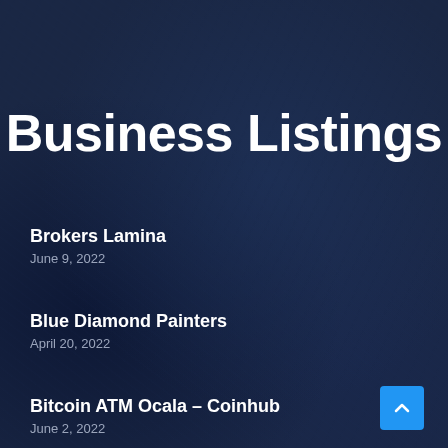Business Listings
Brokers Lamina
June 9, 2022
Blue Diamond Painters
April 20, 2022
Bitcoin ATM Ocala – Coinhub
June 2, 2022